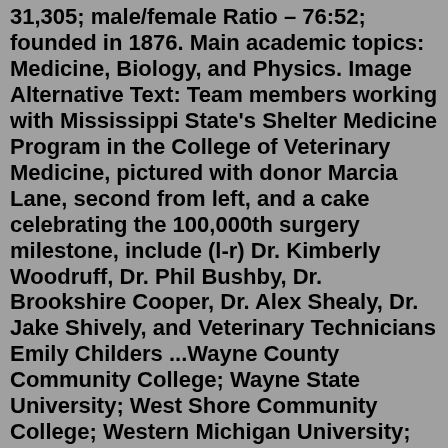31,305; male/female Ratio – 76:52; founded in 1876. Main academic topics: Medicine, Biology, and Physics. Image Alternative Text: Team members working with Mississippi State's Shelter Medicine Program in the College of Veterinary Medicine, pictured with donor Marcia Lane, second from left, and a cake celebrating the 100,000th surgery milestone, include (l-r) Dr. Kimberly Woodruff, Dr. Phil Bushby, Dr. Brookshire Cooper, Dr. Alex Shealy, Dr. Jake Shively, and Veterinary Technicians Emily Childers ...Wayne County Community College; Wayne State University; West Shore Community College; Western Michigan University; Oakland University Prior to Fall '17; About the College; Veterinary Scholars Admissions Pathway; Contact Information; Class of 2025 ProfileCornell also boasts professional development programs like the Summer Dairy Institute and the Veterinary Investigator Program. More information on those and other externships and research opportunities can be found here. Year one tuition: NY state resident: $37,136.